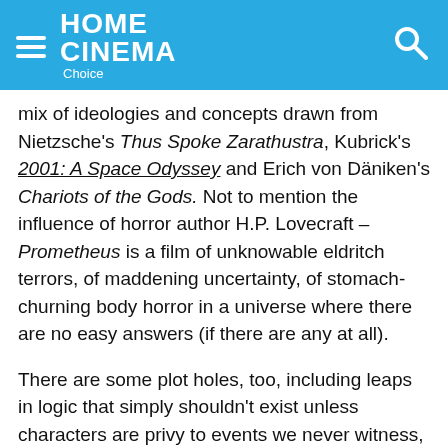HOME CINEMA Choice
mix of ideologies and concepts drawn from Nietzsche's Thus Spoke Zarathustra, Kubrick's 2001: A Space Odyssey and Erich von Däniken's Chariots of the Gods. Not to mention the influence of horror author H.P. Lovecraft – Prometheus is a film of unknowable eldritch terrors, of maddening uncertainty, of stomach-churning body horror in a universe where there are no easy answers (if there are any at all).
There are some plot holes, too, including leaps in logic that simply shouldn't exist unless characters are privy to events we never witness, and two of the film's scientists behaving so stupidly you'd think they